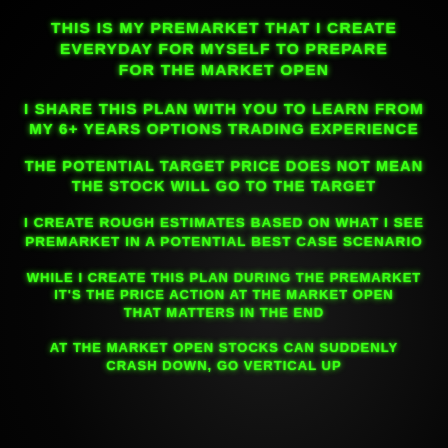THIS IS MY PREMARKET THAT I CREATE EVERYDAY FOR MYSELF TO PREPARE FOR THE MARKET OPEN
I SHARE THIS PLAN WITH YOU TO LEARN FROM MY 6+ YEARS OPTIONS TRADING EXPERIENCE
THE POTENTIAL TARGET PRICE DOES NOT MEAN THE STOCK WILL GO TO THE TARGET
I CREATE ROUGH ESTIMATES BASED ON WHAT I SEE PREMARKET IN A POTENTIAL BEST CASE SCENARIO
WHILE I CREATE THIS PLAN DURING THE PREMARKET IT'S THE PRICE ACTION AT THE MARKET OPEN THAT MATTERS IN THE END
AT THE MARKET OPEN STOCKS CAN SUDDENLY CRASH DOWN, GO VERTICAL UP